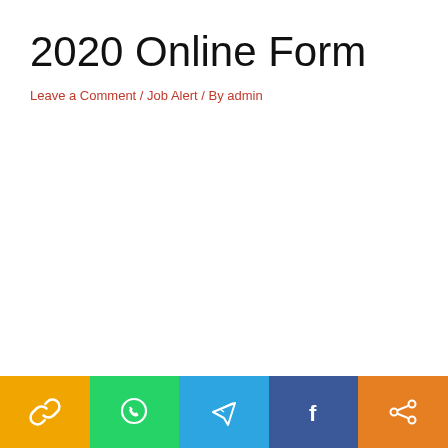2020 Online Form
Leave a Comment / Job Alert / By admin
Social share buttons: Link, WhatsApp, Telegram, Facebook, Share